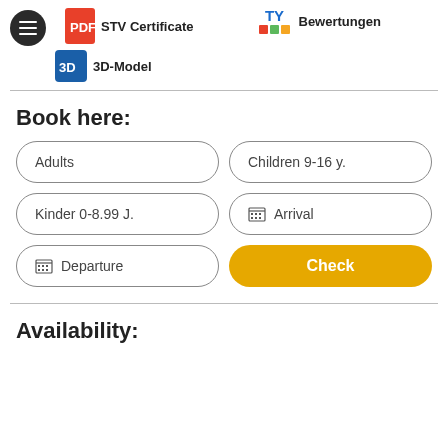[Figure (screenshot): Top navigation bar with menu button, STV Certificate PDF icon link, and TY Bewertungen ratings icon with colored dots]
[Figure (screenshot): 3D-Model icon link in navigation area]
Book here:
[Figure (screenshot): Booking form with input fields: Adults, Children 9-16 y., Kinder 0-8.99 J., Arrival (calendar), Departure (calendar), and Check button]
Availability: